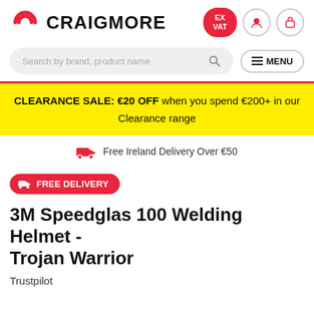CRAIGMORE
Search by brand, product name
≡ MENU
CLEARANCE SALE: €20 OFF when you spend €200+ in our Clearance range
Free Ireland Delivery Over €50
FREE DELIVERY
3M Speedglas 100 Welding Helmet - Trojan Warrior
Trustpilot